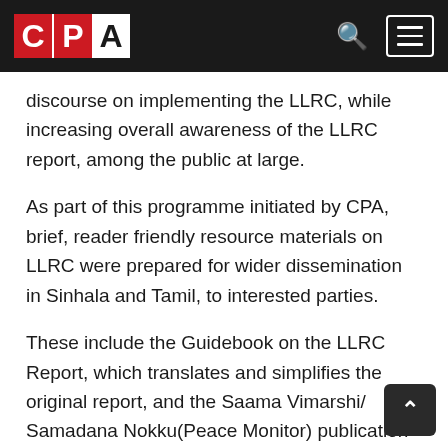CPA
discourse on implementing the LLRC, while increasing overall awareness of the LLRC report, among the public at large.
As part of this programme initiated by CPA, brief, reader friendly resource materials on LLRC were prepared for wider dissemination in Sinhala and Tamil, to interested parties.
These include the Guidebook on the LLRC Report, which translates and simplifies the original report, and the Saama Vimarshi/ Samadana Nokku(Peace Monitor) publication on the LLRC.
CPA also directly translated the Chapter on Recommendations as well as the Action Plan, which latter has to date, not been officially translated.